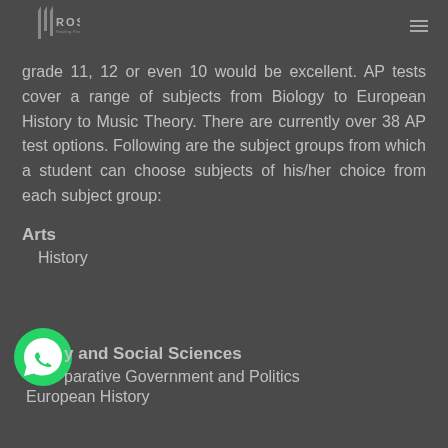ROSTRUM
grade 11, 12 or even 10 would be excellent. AP tests cover a range of subjects from Biology to European History to Music Theory. There are currently over 38 AP test options. Following are the subject groups from which a student can choose subjects of his/her choice from each subject group:
Arts
History
History and Social Sciences
Comparative Government and Politics
European History